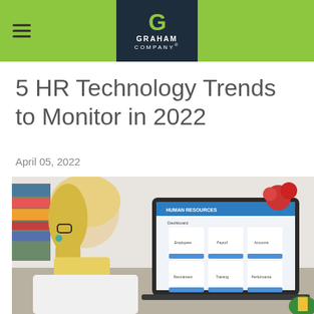Graham Company
5 HR Technology Trends to Monitor in 2022
April 05, 2022
[Figure (photo): Woman with blonde hair and glasses viewed from behind, looking at a laptop screen displaying a Human Resources dashboard with icons for Employees, Payroll, Accounts, Recruitment, Training, and Performance. Red flowers and a yellow plant are visible in the background.]